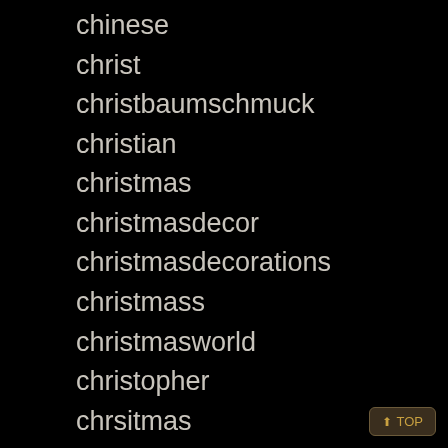chinese
christ
christbaumschmuck
christian
christmas
christmasdecor
christmasdecorations
christmass
christmasworld
christopher
chrsitmas
chucky
chunky
church
churchill
cinderella
cinderella's
cities